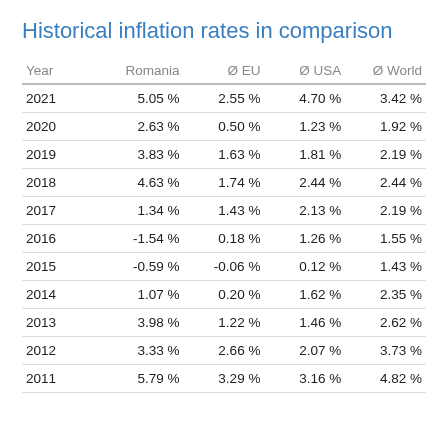Historical inflation rates in comparison
| Year | Romania | Ø EU | Ø USA | Ø World |
| --- | --- | --- | --- | --- |
| 2021 | 5.05 % | 2.55 % | 4.70 % | 3.42 % |
| 2020 | 2.63 % | 0.50 % | 1.23 % | 1.92 % |
| 2019 | 3.83 % | 1.63 % | 1.81 % | 2.19 % |
| 2018 | 4.63 % | 1.74 % | 2.44 % | 2.44 % |
| 2017 | 1.34 % | 1.43 % | 2.13 % | 2.19 % |
| 2016 | -1.54 % | 0.18 % | 1.26 % | 1.55 % |
| 2015 | -0.59 % | -0.06 % | 0.12 % | 1.43 % |
| 2014 | 1.07 % | 0.20 % | 1.62 % | 2.35 % |
| 2013 | 3.98 % | 1.22 % | 1.46 % | 2.62 % |
| 2012 | 3.33 % | 2.66 % | 2.07 % | 3.73 % |
| 2011 | 5.79 % | 3.29 % | 3.16 % | 4.82 % |